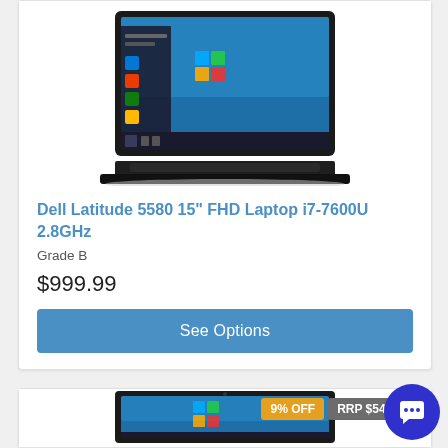[Figure (photo): Dell laptop (Latitude 5580) open showing Windows 10 desktop, viewed from slightly above, black chassis]
Dell Latitude 5580 15" FHD Laptop i7-7600U 2.8GHz
Grade B
$999.99
See Options
9% OFF
RRP $549.99
[Figure (photo): Second Dell laptop partially visible, open showing Windows 10 desktop, black chassis, cropped at bottom of page]